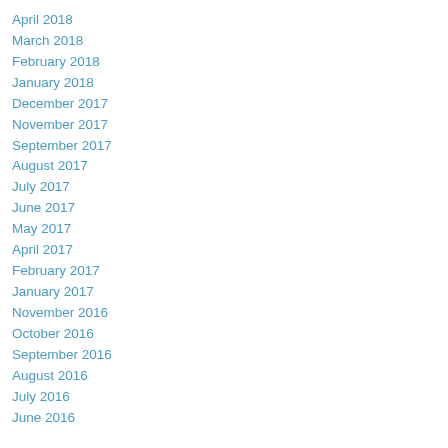April 2018
March 2018
February 2018
January 2018
December 2017
November 2017
September 2017
August 2017
July 2017
June 2017
May 2017
April 2017
February 2017
January 2017
November 2016
October 2016
September 2016
August 2016
July 2016
June 2016